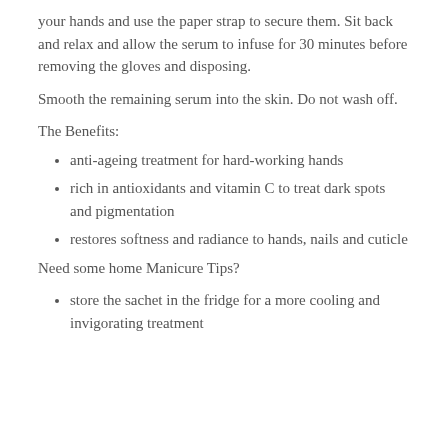your hands and use the paper strap to secure them. Sit back and relax and allow the serum to infuse for 30 minutes before removing the gloves and disposing.
Smooth the remaining serum into the skin. Do not wash off.
The Benefits:
anti-ageing treatment for hard-working hands
rich in antioxidants and vitamin C to treat dark spots and pigmentation
restores softness and radiance to hands, nails and cuticle
Need some home Manicure Tips?
store the sachet in the fridge for a more cooling and invigorating treatment